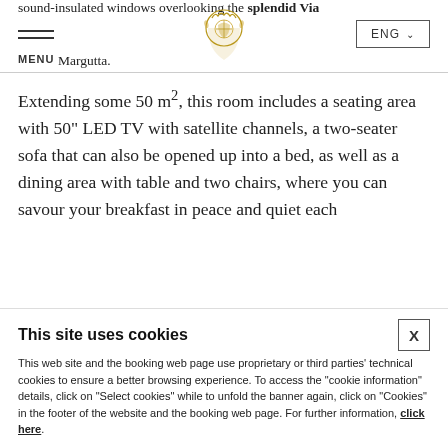sound-insulated windows overlooking the splendid Via Margutta. [MENU] ENG
Extending some 50 m², this room includes a seating area with 50" LED TV with satellite channels, a two-seater sofa that can also be opened up into a bed, as well as a dining area with table and two chairs, where you can savour your breakfast in peace and quiet each
This site uses cookies
This web site and the booking web page use proprietary or third parties' technical cookies to ensure a better browsing experience. To access the "cookie information" details, click on "Select cookies" while to unfold the banner again, click on "Cookies" in the footer of the website and the booking web page. For further information, click here.
Select cookies
Accept all cookies